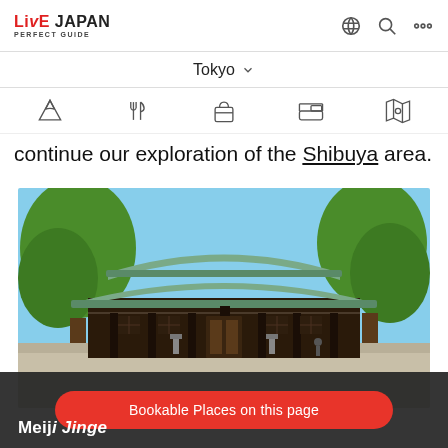LiveJapan Perfect Guide
Tokyo
[Figure (screenshot): Navigation icon bar with 5 category icons: sightseeing (Mt Fuji), dining (fork/spoon), shopping (bag), lodging (bed), and map/guide]
continue our exploration of the Shibuya area.
[Figure (photo): Meiji Jingu shrine main hall with green copper curved roof, dark wooden structure, flanked by large green trees under blue sky]
Meiji Jinge
Bookable Places on this page